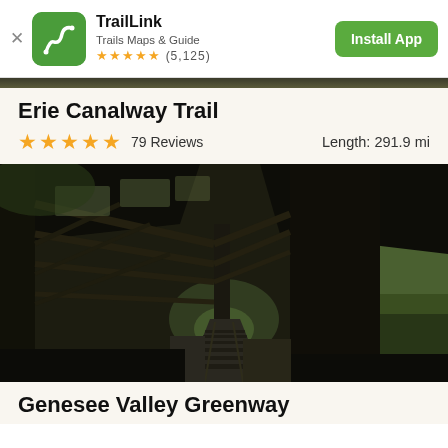TrailLink — Trails Maps & Guide — ★★★★★ (5,125) — Install App
Erie Canalway Trail
★★★★★  79 Reviews    Length: 291.9 mi
[Figure (photo): Dark dramatic photo taken from inside a historic iron railroad trestle bridge, looking down the tracks into the distance, with green trees visible at the far end and on the right side. The iron lattice structure frames the image overhead.]
Genesee Valley Greenway